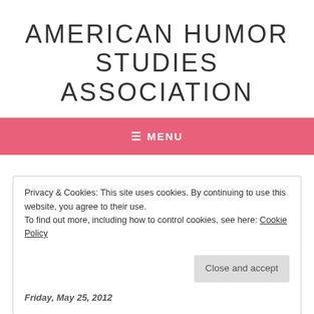AMERICAN HUMOR STUDIES ASSOCIATION
≡ MENU
Privacy & Cookies: This site uses cookies. By continuing to use this website, you agree to their use.
To find out more, including how to control cookies, see here: Cookie Policy
Close and accept
Friday, May 25, 2012